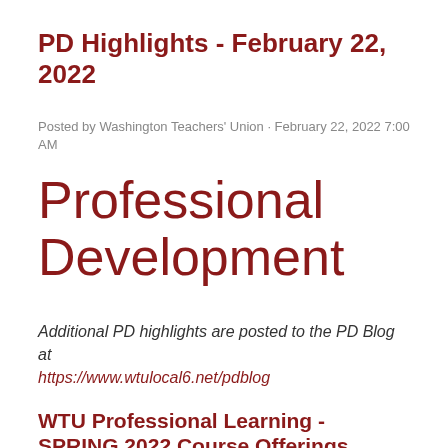PD Highlights - February 22, 2022
Posted by Washington Teachers' Union · February 22, 2022 7:00 AM
Professional Development
Additional PD highlights are posted to the PD Blog at https://www.wtulocal6.net/pdblog
WTU Professional Learning - SPRING 2022 Course Offerings